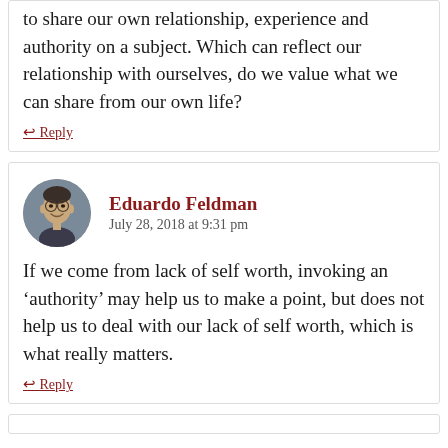to share our own relationship, experience and authority on a subject. Which can reflect our relationship with ourselves, do we value what we can share from our own life?
↩ Reply
Eduardo Feldman
July 28, 2018 at 9:31 pm
If we come from lack of self worth, invoking an 'authority' may help us to make a point, but does not help us to deal with our lack of self worth, which is what really matters.
↩ Reply